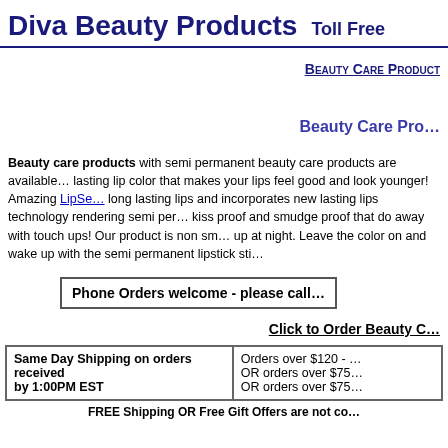Diva Beauty Products   Toll Fre...
Beauty Care Product...
Beauty Care Pro...
Beauty care products with semi permanent beauty care products are available... lasting lip color that makes your lips feel good and look younger! Amazing LipSe... long lasting lips and incorporates new lasting lips technology rendering semi per... kiss proof and smudge proof that do away with touch ups! Our product is non sm... up at night. Leave the color on and wake up with the semi permanent lipstick sti...
Phone Orders welcome - please call...
Click to Order Beauty C...
| Same Day Shipping on orders received by 1:00PM EST | Orders over $120 - ... OR orders over $75... OR orders over $75... |
FREE Shipping OR Free Gift Offers are not co...